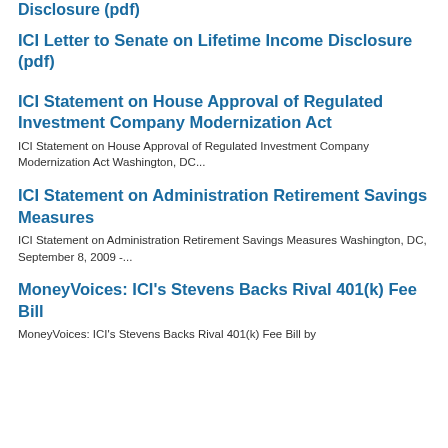Disclosure (pdf)
ICI Letter to Senate on Lifetime Income Disclosure (pdf)
ICI Statement on House Approval of Regulated Investment Company Modernization Act
ICI Statement on House Approval of Regulated Investment Company Modernization Act Washington, DC...
ICI Statement on Administration Retirement Savings Measures
ICI Statement on Administration Retirement Savings Measures Washington, DC, September 8, 2009 -...
MoneyVoices: ICI's Stevens Backs Rival 401(k) Fee Bill
MoneyVoices: ICI's Stevens Backs Rival 401(k) Fee Bill by...